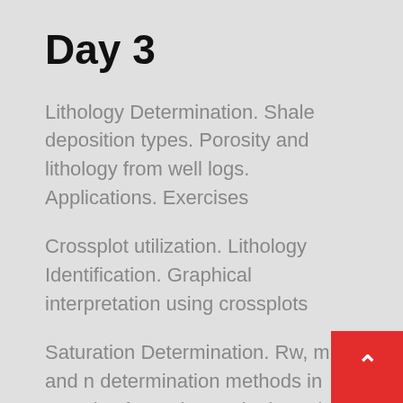Day 3
Lithology Determination. Shale deposition types. Porosity and lithology from well logs. Applications. Exercises
Crossplot utilization. Lithology Identification. Graphical interpretation using crossplots
Saturation Determination. Rw, m and n determination methods in complex formations. Hingle and Pickett Plot. Other Saturation Equations. Simandoux. Waxman-Smits. Juhasz. Saturation determination